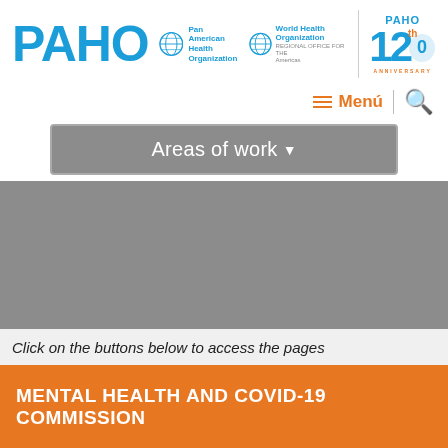[Figure (logo): PAHO Pan American Health Organization / World Health Organization logo with 120th Anniversary badge]
≡ Menú | 🔍
Areas of work▾
Click on the buttons below to access the pages
MENTAL HEALTH AND COVID-19 COMMISSION